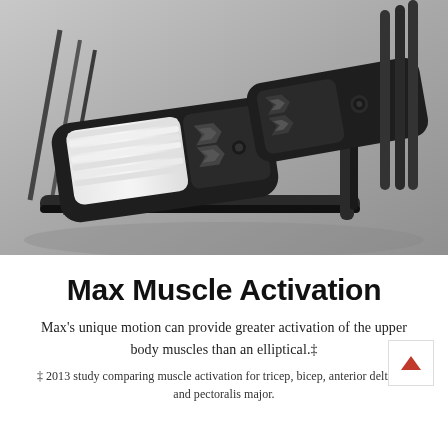[Figure (photo): Close-up product photo of a fitness machine (Max Trainer / elliptical) showing black pedal/foot platforms with geometric chevron patterns, white padding, and metal frame, on a gray background.]
Max Muscle Activation
Max's unique motion can provide greater activation of the upper body muscles than an elliptical.‡
‡ 2013 study comparing muscle activation for tricep, bicep, anterior deltoids, and pectoralis major.